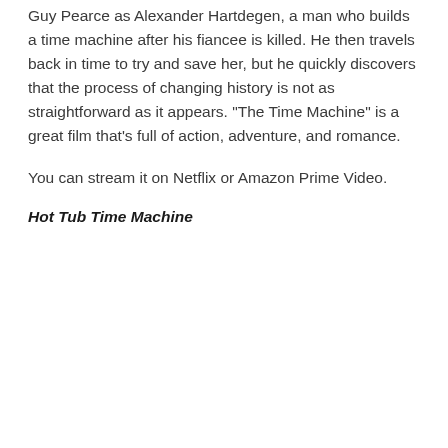Guy Pearce as Alexander Hartdegen, a man who builds a time machine after his fiancee is killed. He then travels back in time to try and save her, but he quickly discovers that the process of changing history is not as straightforward as it appears. "The Time Machine" is a great film that's full of action, adventure, and romance.
You can stream it on Netflix or Amazon Prime Video.
Hot Tub Time Machine